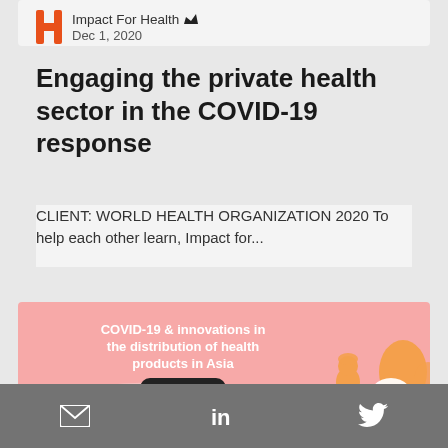Impact For Health · Dec 1, 2020
Engaging the private health sector in the COVID-19 response
CLIENT: WORLD HEALTH ORGANIZATION 2020 To help each other learn, Impact for...
[Figure (illustration): COVID-19 & innovations in the distribution of health products in Asia — pink banner with illustration of person at laptop and decorative trees/waves, PROJECT badge, and scroll-up button]
Email share | LinkedIn share | Twitter share